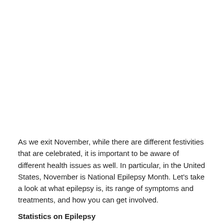As we exit November, while there are different festivities that are celebrated, it is important to be aware of different health issues as well. In particular, in the United States, November is National Epilepsy Month. Let's take a look at what epilepsy is, its range of symptoms and treatments, and how you can get involved.
Statistics on Epilepsy